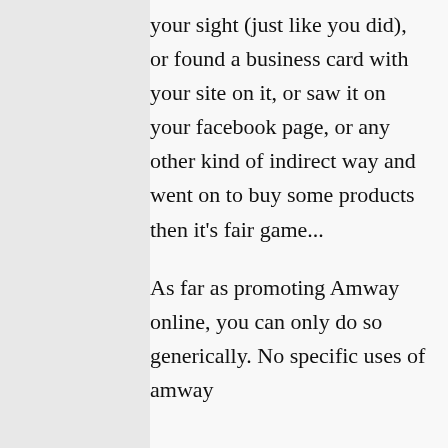your sight (just like you did), or found a business card with your site on it, or saw it on your facebook page, or any other kind of indirect way and went on to buy some products then it's fair game...
As far as promoting Amway online, you can only do so generically. No specific uses of amway